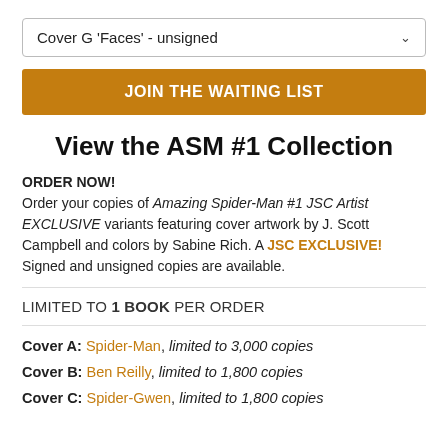Cover G 'Faces' - unsigned
JOIN THE WAITING LIST
View the ASM #1 Collection
ORDER NOW! Order your copies of Amazing Spider-Man #1 JSC Artist EXCLUSIVE variants featuring cover artwork by J. Scott Campbell and colors by Sabine Rich. A JSC EXCLUSIVE! Signed and unsigned copies are available.
LIMITED TO 1 BOOK PER ORDER
Cover A: Spider-Man, limited to 3,000 copies
Cover B: Ben Reilly, limited to 1,800 copies
Cover C: Spider-Gwen, limited to 1,800 copies